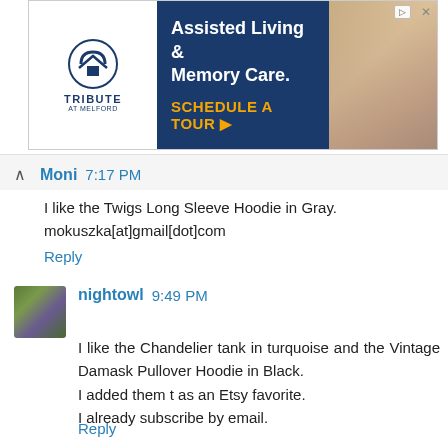[Figure (screenshot): Tribute at Melford advertisement banner for Assisted Living & Memory Care with Schedule a Tour call to action]
Moni 7:17 PM
I like the Twigs Long Sleeve Hoodie in Gray.
mokuszka[at]gmail[dot]com
Reply
nightowl 9:49 PM
I like the Chandelier tank in turquoise and the Vintage Damask Pullover Hoodie in Black.
I added them t as an Etsy favorite.
I already subscribe by email.
Reply
BrendaLea, the Prpldy 11:36 AM
It was hard to choose because I found 4 items I would love to have.